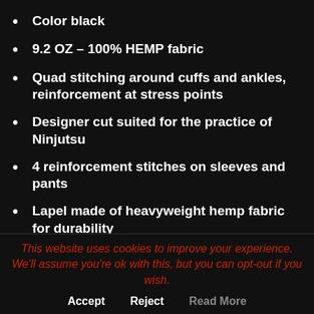Color black
9.2 OZ – 100% HEMP fabric
Quad stitching around cuffs and ankles, reinforcement at stress points
Designer cut suited for the practice of Ninjutsu
4 reinforcement stitches on sleeves and pants
Lapel made of heavyweight hemp fabric for durability
Baggy, drop-crotch pants give maximum freedom of movement from standing, seated, and kneeling positions
This website uses cookies to improve your experience. We'll assume you're ok with this, but you can opt-out if you wish.
Accept   Reject   Read More